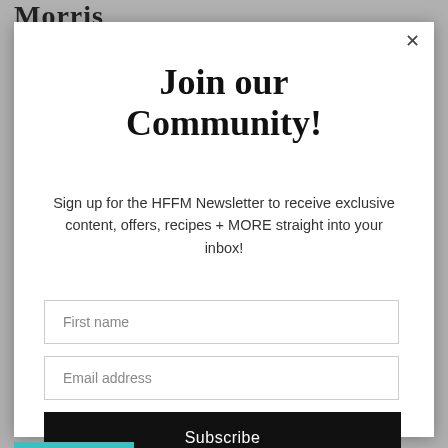Morris
Join our Community!
Sign up for the HFFM Newsletter to receive exclusive content, offers, recipes + MORE straight into your inbox!
First name
Email address
Subscribe